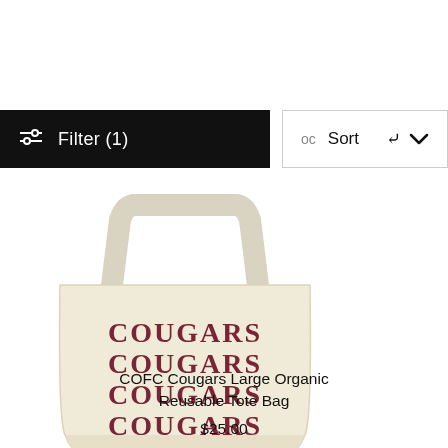[Figure (screenshot): Filter (1) button in black and Sort dropdown on a toolbar]
[Figure (photo): A cream/natural colored canvas tote bag with 'COUGARS' printed four times in dark red gothic/old English style lettering]
COFC Cougars Large Organic Reusable Tote Bag
$25.00